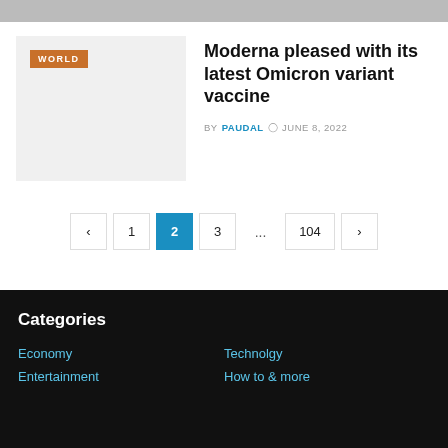[Figure (photo): Cropped top of an article image, partially visible]
[Figure (photo): Gray placeholder thumbnail with WORLD badge for Moderna Omicron vaccine article]
Moderna pleased with its latest Omicron variant vaccine
BY PAUDAL  JUNE 8, 2022
< 1 2 3 ... 104 >
Categories
Economy
Technolgy
Entertainment
How to & more